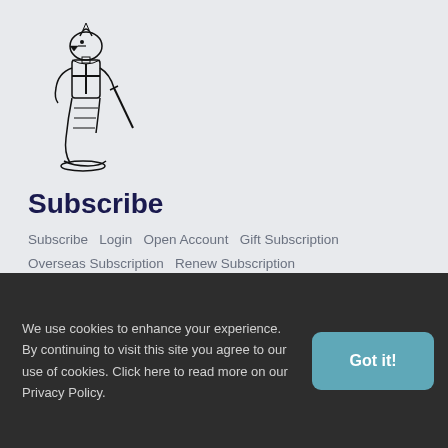[Figure (illustration): Black and white line drawing of a cartoon knight/soldier character in a crouching or sitting pose, holding a sword or weapon, with a crested helmet]
Subscribe
Subscribe   Login   Open Account   Gift Subscription   Overseas Subscription   Renew Subscription
Current Issue
We use cookies to enhance your experience. By continuing to visit this site you agree to our use of cookies. Click here to read more on our Privacy Policy.
Got it!